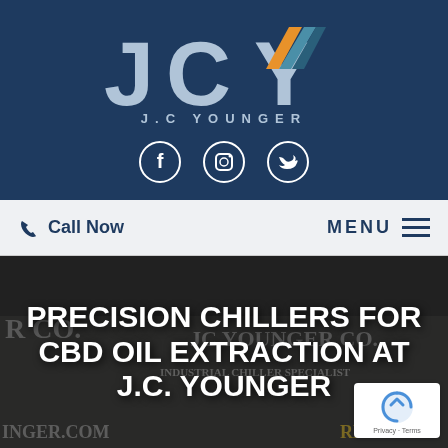[Figure (logo): JCY J.C. Younger company logo on dark navy background with stylized J, C, Y letters. Y has orange and teal accent stripes. Below the letters: 'J.C YOUNGER' in spaced caps. Three social media icons (Facebook, Instagram, Twitter) in white circles below.]
[Figure (screenshot): Navigation bar with phone icon and 'Call Now' on left, 'MENU' with hamburger icon on right, light gray background.]
PRECISION CHILLERS FOR CBD OIL EXTRACTION AT J.C. YOUNGER
[Figure (photo): Dark overlay photo of JC Younger Co. white work van with company branding visible. Text 'INDUSTRIAL CHILLER SPECIALIST' visible on van. Bottom right has reCAPTCHA widget with Privacy - Terms text.]